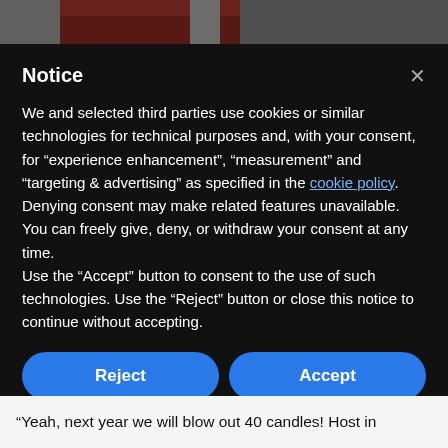[Figure (photo): Partial view of a vehicle or object with red and white colors, cropped at top of page]
Notice
We and selected third parties use cookies or similar technologies for technical purposes and, with your consent, for "experience enhancement", "measurement" and "targeting & advertising" as specified in the cookie policy. Denying consent may make related features unavailable.
You can freely give, deny, or withdraw your consent at any time.
Use the "Accept" button to consent to the use of such technologies. Use the "Reject" button or close this notice to continue without accepting.
Reject
Accept
Learn more and customise
“Yeah, next year we will blow out 40 candles! Host in